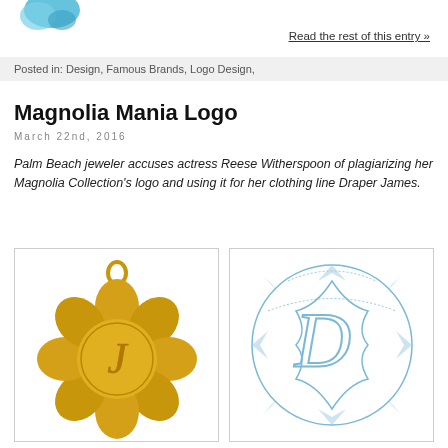[Figure (logo): Partial blue bird/twitter-style logo at top left]
Read the rest of this entry »
Posted in: Design, Famous Brands, Logo Design,
Magnolia Mania Logo
March 22nd, 2016
Palm Beach jeweler accuses actress Reese Witherspoon of plagiarizing her Magnolia Collection's logo and using it for her clothing line Draper James.
[Figure (photo): Gold lotus/magnolia-shaped pendant charm with cursive letter J engraved]
[Figure (logo): Draper James logo: circular design with magnolia petals and cursive letter D in blue]